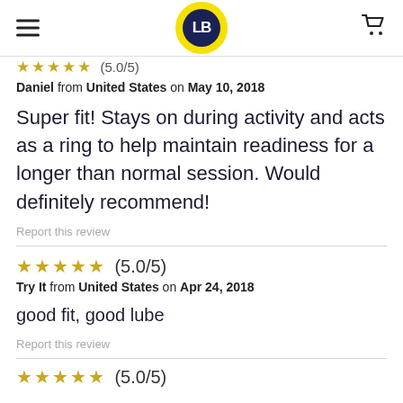LB logo, hamburger menu, cart icon
★★★★★ (5.0/5) — partial top
Daniel from United States on May 10, 2018
Super fit! Stays on during activity and acts as a ring to help maintain readiness for a longer than normal session. Would definitely recommend!
Report this review
★★★★★ (5.0/5)
Try It from United States on Apr 24, 2018
good fit, good lube
Report this review
★★★★★ (5.0/5)